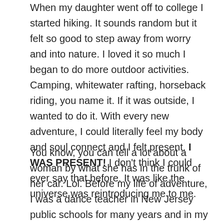When my daughter went off to college I started hiking. It sounds random but it felt so good to step away from worry and into nature. I loved it so much I began to do more outdoor activities. Camping, whitewater rafting, horseback riding, you name it. If it was outside, I wanted to do it. With every new adventure, I could literally feel my body and soul connect and I felt present. I WAS PRESENT! I don't think I could ever say that before. It was like the universe was reintroducing me to me.
You know, you can tell a lot about a woman by what she has in the trunk of her car. Lol. Before my life of adventure, I was a dance teacher in New Jersey public schools for many years and in my trunk, you would find tons of costumes, ballet slippers, and ungraded papers rolling around. But now if you were to look in my trunk you would see hiking boots, camping equipment, an inflatable kayak,